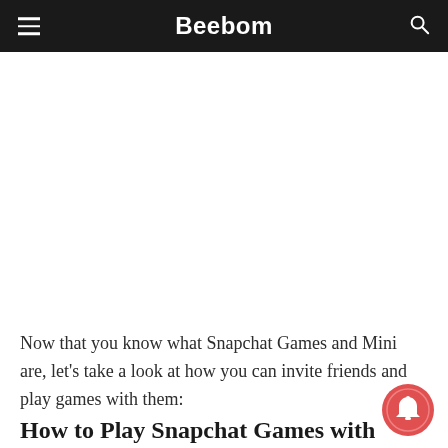Beebom
Now that you know what Snapchat Games and Mini are, let's take a look at how you can invite friends and play games with them:
How to Play Snapchat Games with